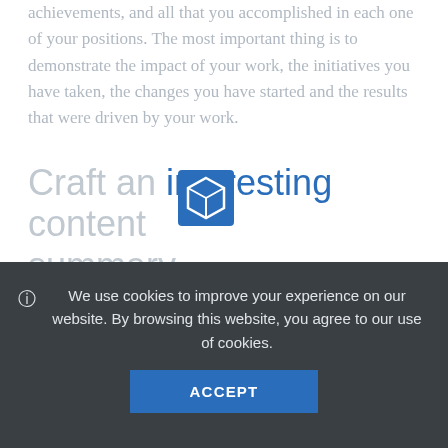achievements, and all that you accomplished in each one of your positions. The most important thing is to demonstrate the impact of your work, the initiatives you have taken, the changes you have started and the results that were driven by your work.
Craft an interesting content summary
Your LinkedIn description or summary is your best
We use cookies to improve your experience on our website. By browsing this website, you agree to our use of cookies.
ACCEPT